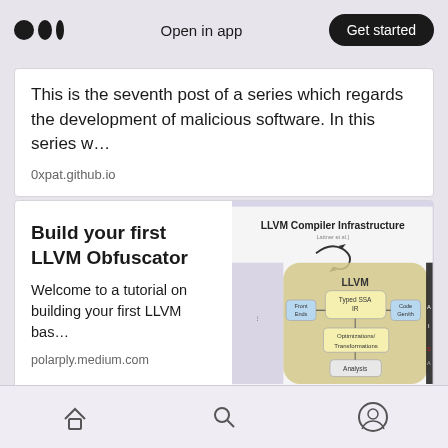Open in app | Get started
This is the seventh post of a series which regards the development of malicious software. In this series w...
0xpat.github.io
Build your first LLVM Obfuscator
Welcome to a tutorial on building your first LLVM bas...
polarply.medium.com
[Figure (screenshot): LLVM Compiler Infrastructure diagram showing Front Ends, Typed SSA IR, Optimizations/Transformations, Analysis, and Code Generation components]
Home | Search | Profile